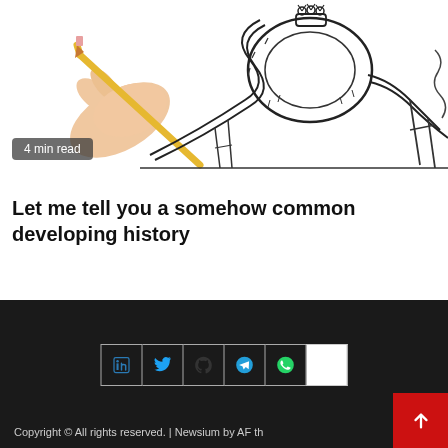[Figure (illustration): Hand holding pencil drawing a roller coaster sketch on white background. Black and white ink illustration showing a looping roller coaster with riders at the top of the loop. A '4 min read' badge overlays the bottom-left of the image.]
Let me tell you a somehow common developing history
Copyright © All rights reserved. | Newsium by AF th